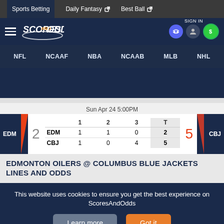Sports Betting | Daily Fantasy | Best Ball
[Figure (logo): Scores and Odds logo with hamburger menu and sign in icons]
NFL  NCAAF  NBA  NCAAB  MLB  NHL
|  | 1 | 2 | 3 | T |
| --- | --- | --- | --- | --- |
| EDM | 1 | 1 | 0 | 2 |
| CBJ | 1 | 0 | 4 | 5 |
Sun Apr 24 5:00PM
EDMONTON OILERS @ COLUMBUS BLUE JACKETS LINES AND ODDS
This website uses cookies to ensure you get the best experience on ScoresAndOdds